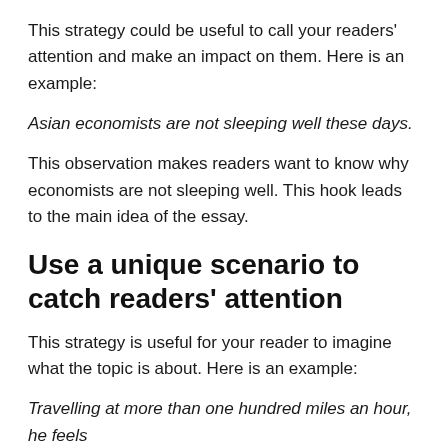This strategy could be useful to call your readers' attention and make an impact on them. Here is an example:
Asian economists are not sleeping well these days.
This observation makes readers want to know why economists are not sleeping well. This hook leads to the main idea of the essay.
Use a unique scenario to catch readers' attention
This strategy is useful for your reader to imagine what the topic is about. Here is an example:
Travelling at more than one hundred miles an hour, he feels